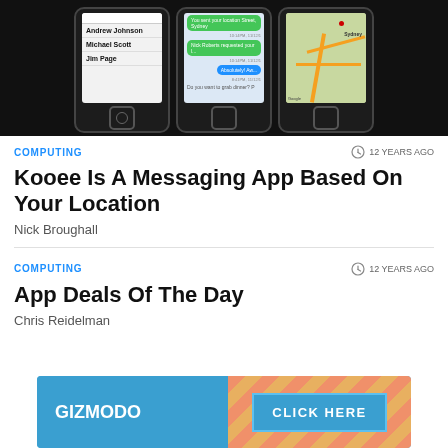[Figure (screenshot): Three iPhone screenshots showing the Kooee messaging app: a contacts list, a messaging conversation, and a map view of Sydney]
COMPUTING
12 YEARS AGO
Kooee Is A Messaging App Based On Your Location
Nick Broughall
COMPUTING
12 YEARS AGO
App Deals Of The Day
Chris Reidelman
[Figure (advertisement): Gizmodo advertisement banner with CLICK HERE button]